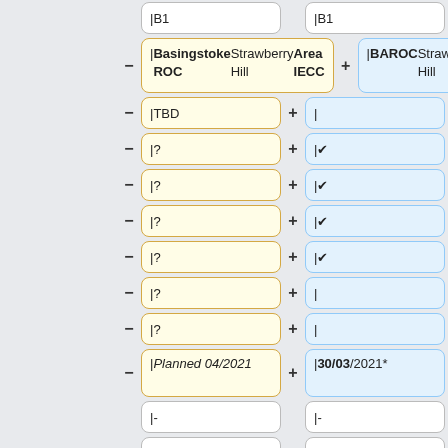|B1
|B1
|Basingstoke ROC Strawberry Hill Area IECC
|BAROC Strawberry Hill Scalable
|TBD
|
|?
|&#10004;
|?
|&#10004;
|?
|&#10004;
|?
|&#10004;
|?
|
|?
|
|<i>Planned 04/2021</i>
|30/03/2021*
|-
|-
|B2
|B2